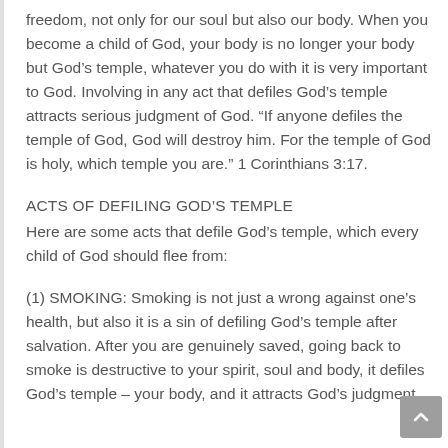freedom, not only for our soul but also our body. When you become a child of God, your body is no longer your body but God’s temple, whatever you do with it is very important to God. Involving in any act that defiles God’s temple attracts serious judgment of God. “If anyone defiles the temple of God, God will destroy him. For the temple of God is holy, which temple you are.” 1 Corinthians 3:17.
ACTS OF DEFILING GOD’S TEMPLE
Here are some acts that defile God’s temple, which every child of God should flee from:
(1) SMOKING: Smoking is not just a wrong against one’s health, but also it is a sin of defiling God’s temple after salvation. After you are genuinely saved, going back to smoke is destructive to your spirit, soul and body, it defiles God’s temple – your body, and it attracts God’s judgment.